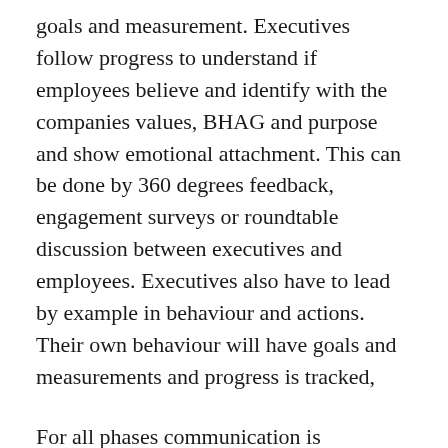goals and measurement. Executives follow progress to understand if employees believe and identify with the companies values, BHAG and purpose and show emotional attachment. This can be done by 360 degrees feedback, engagement surveys or roundtable discussion between executives and employees. Executives also have to lead by example in behaviour and actions. Their own behaviour will have goals and measurements and progress is tracked,
For all phases communication is important, although it can be argued that it's most important when developing an emotional connection. An IBP document on key decision, outcomes, progress and wins in the IBP cycle can be communicated to a well-defined stakeholder group in the company. This will both give the stakeholders an understanding of business performance, priorities, improvement opportunities and successes, as well as keep the engagement with the company vision.